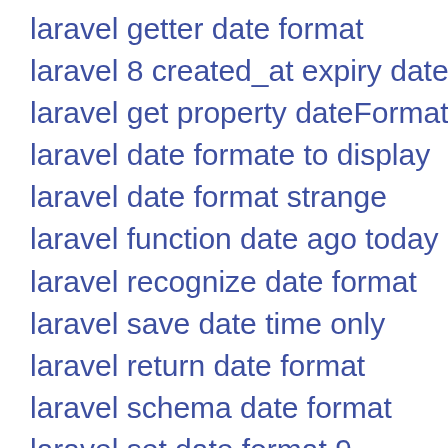laravel getter date format
laravel 8 created_at expiry date
laravel get property dateFormat
laravel date formate to display
laravel date format strange
laravel function date ago today
laravel recognize date format
laravel save date time only
laravel return date format
laravel schema date format
laravel set date format 9
laravel DatePeriod dte in database
laravel date format iso
laravel DATE FORMAT in where